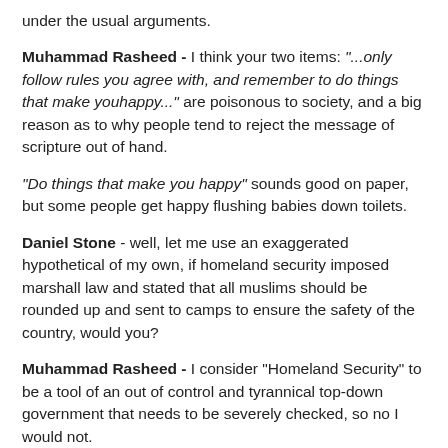under the usual arguments.
Muhammad Rasheed - I think your two items: "...only follow rules you agree with, and remember to do things that make youhappy..." are poisonous to society, and a big reason as to why people tend to reject the message of scripture out of hand.
"Do things that make you happy" sounds good on paper, but some people get happy flushing babies down toilets.
Daniel Stone - well, let me use an exaggerated hypothetical of my own, if homeland security imposed marshall law and stated that all muslims should be rounded up and sent to camps to ensure the safety of the country, would you?
Muhammad Rasheed - I consider "Homeland Security" to be a tool of an out of control and tyrannical top-down government that needs to be severely checked, so no I would not.
Daniel Stone - hence, you not following a rule you don't